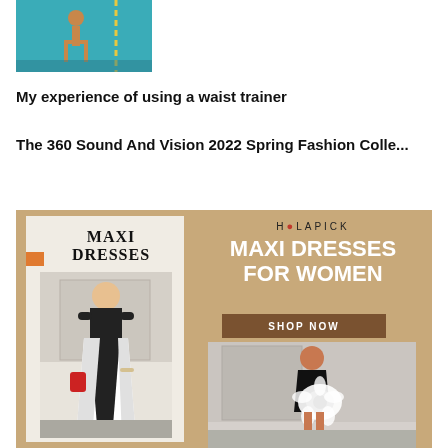[Figure (photo): A person in a swimsuit doing a handstand on a surfboard or near water, with a teal/turquoise background]
My experience of using a waist trainer
The 360 Sound And Vision 2022 Spring Fashion Colle...
[Figure (infographic): Advertisement for HOLAPICK Maxi Dresses for Women with shop now button, showing two maxi dress images on a tan/kraft paper background]